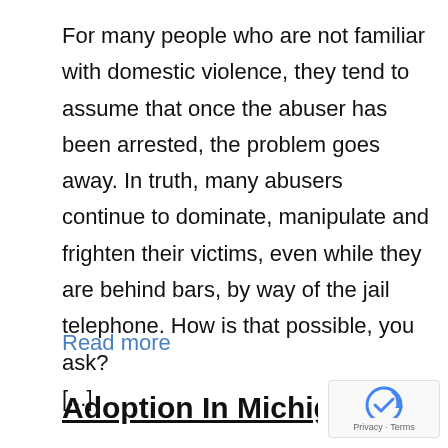For many people who are not familiar with domestic violence, they tend to assume that once the abuser has been arrested, the problem goes away. In truth, many abusers continue to dominate, manipulate and frighten their victims, even while they are behind bars, by way of the jail telephone. How is that possible, you ask? [...]
Read more
Adoption In Michigan: Wha...